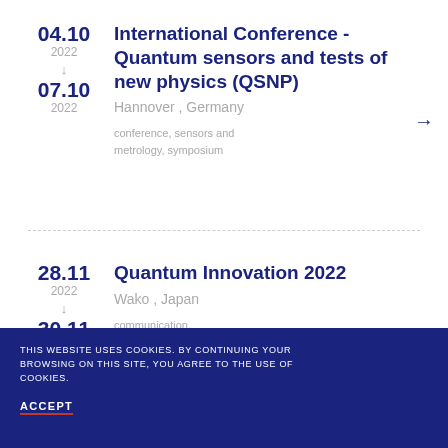04.10 2022 → 07.10 2022 | International Conference - Quantum sensors and tests of new physics (QSNP) | Hannover , Germany | conference, sensors and metrology, symposium
28.11 2022 → 30.11 2022 | Quantum Innovation 2022 | Wako , Japan | communication, computing, Round table, sensors and metrology, session, symposium, talk
THIS WEBSITE USES COOKIES. BY CONTINUING YOUR BROWSING ON THIS SITE, YOU AGREE TO THE USE OF COOKIES. ACCEPT